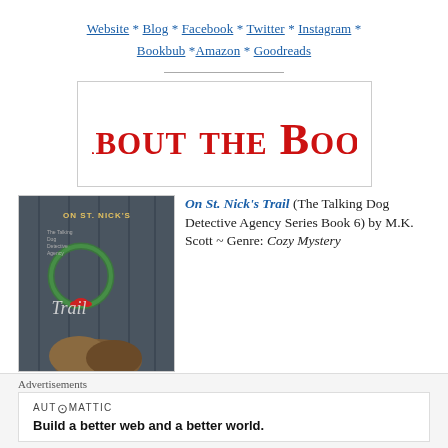Website * Blog * Facebook * Twitter * Instagram * Bookbub * Amazon * Goodreads
[Figure (illustration): About the Book banner with red bold stylized text on white background with border]
[Figure (photo): Book cover of 'On St. Nick's Trail' showing a woman with brown hair, Christmas wreath, holiday decorations, dark moody background]
On St. Nick's Trail (The Talking Dog Detective Agency Series Book 6) by M.K. Scott ~ Genre: Cozy Mystery
Advertisements
AUTOMATTIC
Build a better web and a better world.